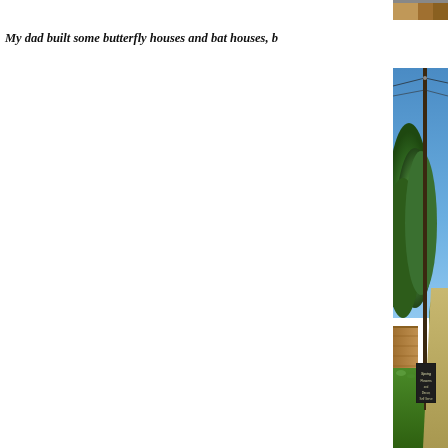[Figure (photo): Top strip of a photo showing what appears to be an indoor scene, partially cropped at top of page]
My dad built some butterfly houses and bat houses, b
[Figure (photo): Outdoor street scene showing large evergreen trees, a utility pole with wires, a brick building partially visible on the left, green lawn, a sidewalk/path on the right, and a small chalkboard sign reading 'Spring Flowers and Decor, Self Serve' in the lower right area. Blue sky visible above the trees.]